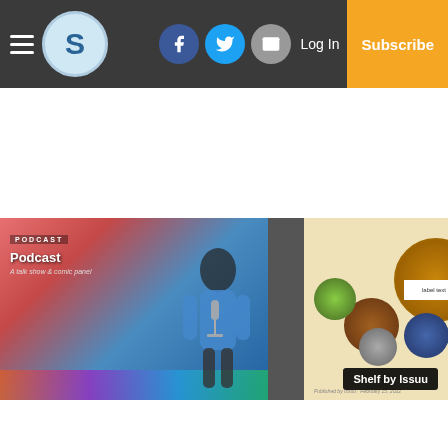S Logo | Facebook | Twitter | Email | Log In | Subscribe
[Figure (screenshot): Website navigation bar with hamburger menu, S logo circle, Facebook, Twitter, and email social icons, Log In text, and orange Subscribe button on dark grey background]
[Figure (photo): Left panel: Podcast promotional image with colorful background showing a person at a microphone, labeled PODCAST with subtitle text. Right panel: Magazine cover for 2022 featuring circular food/product images on a cream background. Grey shelf strip area with Shelf by Issuu badge in bottom right corner.]